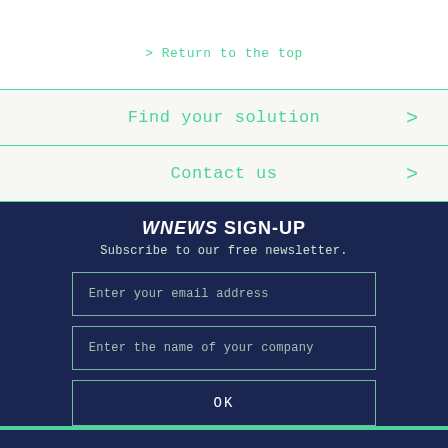> Return to the top
Find your solution >
Contact us >
WNEWS SIGN-UP
Subscribe to our free newsletter.
Enter your email address
Enter the name of your company
OK